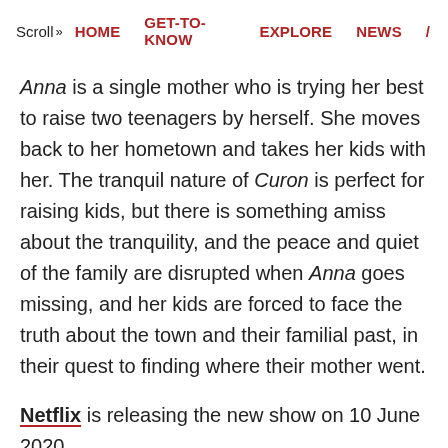Scroll >> HOME   GET-TO-KNOW   EXPLORE   NEWS   /
Anna is a single mother who is trying her best to raise two teenagers by herself. She moves back to her hometown and takes her kids with her. The tranquil nature of Curon is perfect for raising kids, but there is something amiss about the tranquility, and the peace and quiet of the family are disrupted when Anna goes missing, and her kids are forced to face the truth about the town and their familial past, in their quest to finding where their mother went.
Netflix is releasing the new show on 10 June 2020.
Curon cast includes Valeria Bilello as Anna, Federico